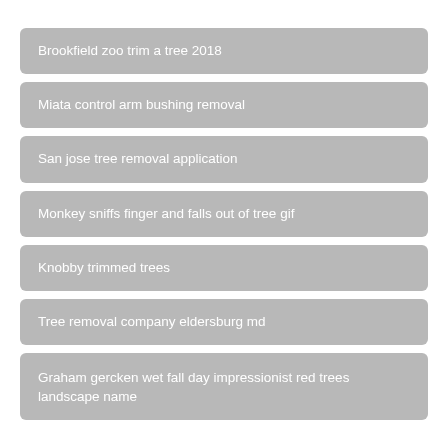Brookfield zoo trim a tree 2018
Miata control arm bushing removal
San jose tree removal application
Monkey sniffs finger and falls out of tree gif
Knobby trimmed trees
Tree removal company eldersburg md
Graham gercken wet fall day impressionist red trees landscape name